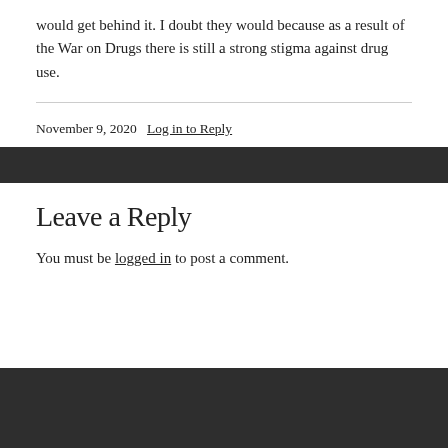would get behind it. I doubt they would because as a result of the War on Drugs there is still a strong stigma against drug use.
November 9, 2020  Log in to Reply
Leave a Reply
You must be logged in to post a comment.